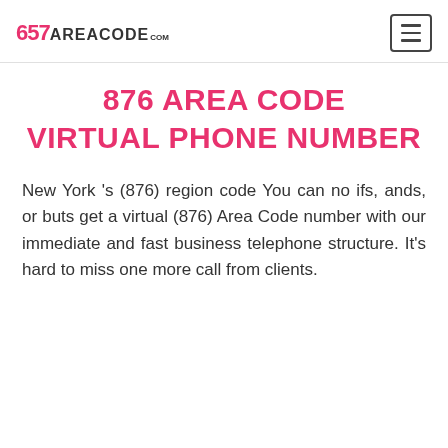657AREACODE.com
876 AREA CODE VIRTUAL PHONE NUMBER
New York 's (876) region code You can no ifs, ands, or buts get a virtual (876) Area Code number with our immediate and fast business telephone structure. It's hard to miss one more call from clients.